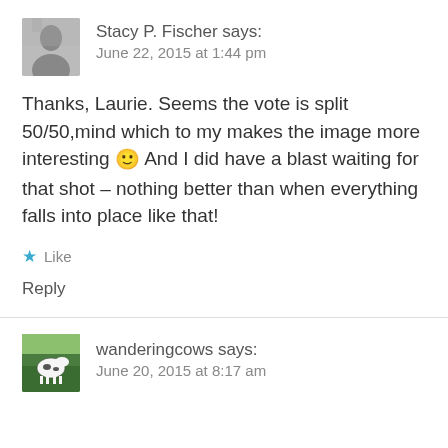[Figure (photo): Black and white avatar photo of Stacy P. Fischer]
Stacy P. Fischer says:
June 22, 2015 at 1:44 pm
Thanks, Laurie. Seems the vote is split 50/50,mind which to my makes the image more interesting 🙂 And I did have a blast waiting for that shot – nothing better than when everything falls into place like that!
★ Like
Reply
[Figure (photo): Colour avatar photo showing a cow in green grass for wanderingcows]
wanderingcows says:
June 20, 2015 at 8:17 am